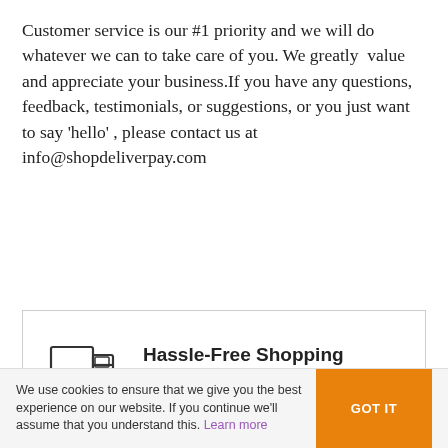Customer service is our #1 priority and we will do whatever we can to take care of you. We greatly  value and appreciate your business.If you have any questions, feedback, testimonials, or suggestions, or you just want to say 'hello' , please contact us at info@shopdeliverpay.com
[Figure (illustration): Delivery truck icon inside a bordered card with title 'Hassle-Free Shopping' and subtitle 'Cash On Delivery Nationwide!']
[Figure (illustration): Customer support person icon inside a bordered card with title 'Got Questions?' and subtitle 'We're happy to help! Email us: info@shopdeliverpay.com']
We use cookies to ensure that we give you the best experience on our website. If you continue we'll assume that you understand this. Learn more